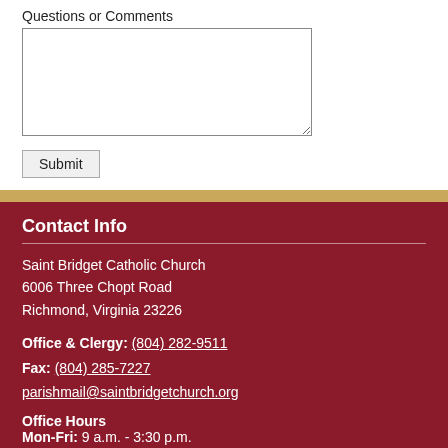Questions or Comments
Submit
Contact Info
Saint Bridget Catholic Church
6006 Three Chopt Road
Richmond, Virginia 23226
Office & Clergy: (804) 282-9511
Fax: (804) 285-7227
parishmail@saintbridgetchurch.org
Office Hours
Mon-Fri: 9 a.m. - 3:30 p.m.